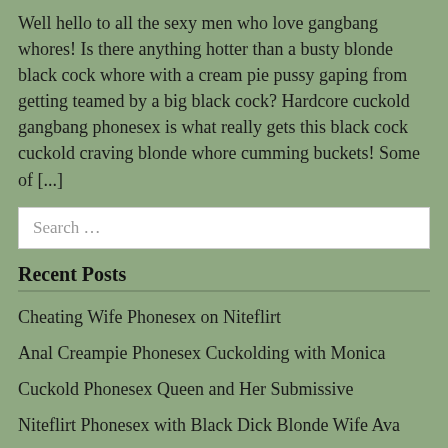Well hello to all the sexy men who love gangbang whores! Is there anything hotter than a busty blonde black cock whore with a cream pie pussy gaping from getting teamed by a big black cock? Hardcore cuckold gangbang phonesex is what really gets this black cock cuckold craving blonde whore cumming buckets! Some of [...]
Search ...
Recent Posts
Cheating Wife Phonesex on Niteflirt
Anal Creampie Phonesex Cuckolding with Monica
Cuckold Phonesex Queen and Her Submissive
Niteflirt Phonesex with Black Dick Blonde Wife Ava
Tammy's Cuckold Phonesex Boyfriend
Archives